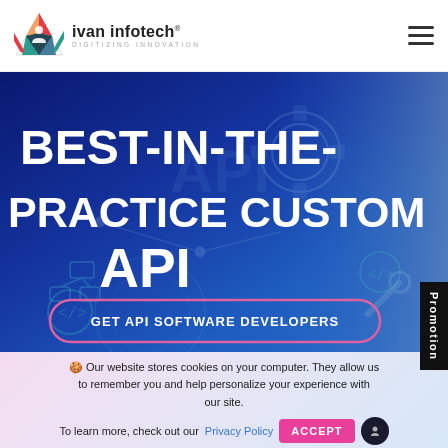[Figure (logo): Ivan Infotech logo with colorful triangular icon and text 'ivan infotech® DIGITIZING INNOVATION']
BEST-IN-THE-PRACTICE CUSTOM API
GET API SOFTWARE DEVELOPERS
Promotion
🍪 Our website stores cookies on your computer. They allow us to remember you and help personalize your experience with our site.
To learn more, check out our Privacy Policy ACCEPT